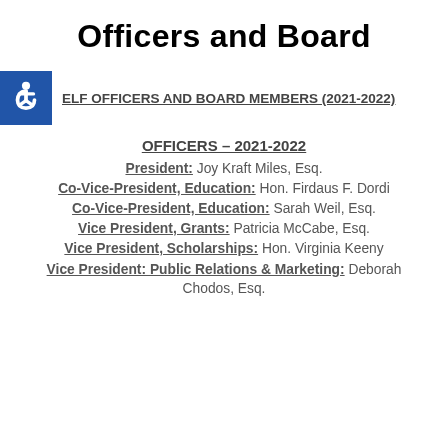Officers and Board
ELF OFFICERS AND BOARD MEMBERS (2021-2022)
OFFICERS – 2021-2022
President:  Joy Kraft Miles, Esq.
Co-Vice-President, Education:  Hon. Firdaus F. Dordi
Co-Vice-President, Education:  Sarah Weil, Esq.
Vice President, Grants:  Patricia McCabe, Esq.
Vice President, Scholarships:  Hon. Virginia Keeny
Vice President: Public Relations & Marketing:  Deborah Chodos, Esq.